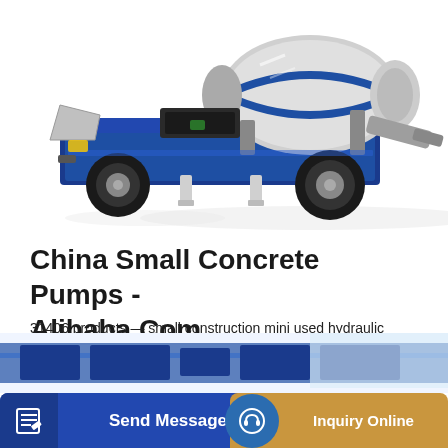[Figure (photo): Concrete mixer truck / small concrete pump - blue and white construction machinery with large drum mixer, wheels, and conveyor chute, shown on white background]
China Small Concrete Pumps - Alibaba.Com
31406 products — small construction mini used hydraulic concrete pump. Jining Luheng Machinery Equipment Co., Ltd. US $7500-$8000 / Set. 1 Set (Min. Order).
Learn More
[Figure (photo): Partial view of another concrete mixer/pump machinery in blue color at the bottom of the page]
Send Message
Inquiry Online